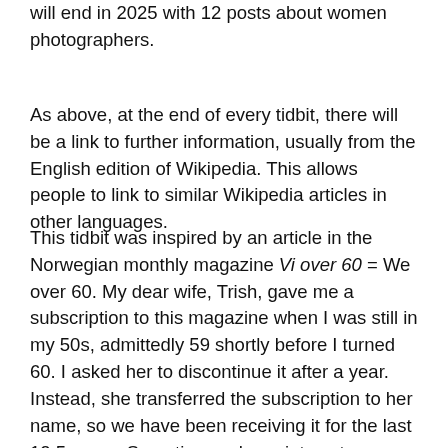will end in 2025 with 12 posts about women photographers.
As above, at the end of every tidbit, there will be a link to further information, usually from the English edition of Wikipedia. This allows people to link to similar Wikipedia articles in other languages.
This tidbit was inspired by an article in the Norwegian monthly magazine Vi over 60 = We over 60. My dear wife, Trish, gave me a subscription to this magazine when I was still in my 50s, admittedly 59 shortly before I turned 60. I asked her to discontinue it after a year. Instead, she transferred the subscription to her name, so we have been receiving it for the last 12.5 years. Sometimes, she points out an article she thinks I might be interested in. This happened with the 2021-01 edition, when she pointed out an article on Joan Baez titled, Fredens førstdame = The first lady of peace (p. 21).